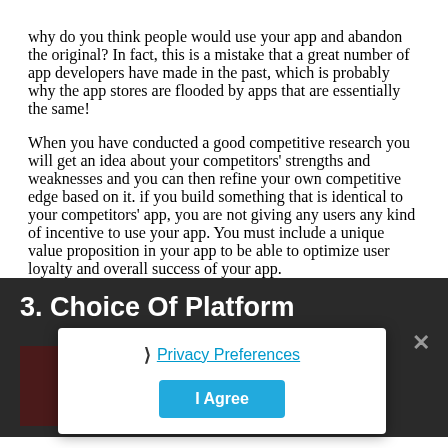why do you think people would use your app and abandon the original? In fact, this is a mistake that a great number of app developers have made in the past, which is probably why the app stores are flooded by apps that are essentially the same!
When you have conducted a good competitive research you will get an idea about your competitors' strengths and weaknesses and you can then refine your own competitive edge based on it. if you build something that is identical to your competitors' app, you are not giving any users any kind of incentive to use your app. You must include a unique value proposition in your app to be able to optimize user loyalty and overall success of your app.
3. Choice Of Platform
[Figure (other): Dark red banner image with text 'WRONG CH... ATFORM' and 'MAKE YOUR APP FAI...' partially visible, overlaid by a privacy preferences cookie consent dialog]